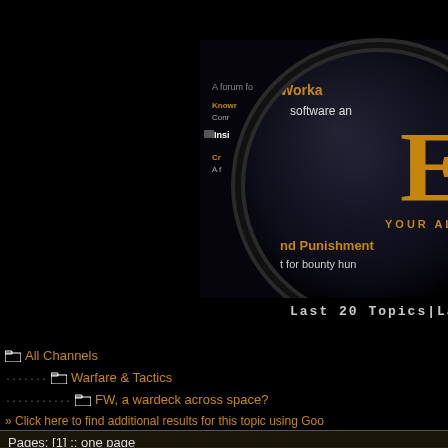[Figure (screenshot): EVE Online forum interface screenshot shown through a magnifying glass overlay on dark background. Shows forum topics including 'Warfare & Tactics', references to 'Punishment', 'bounty hunters', and other forum content. Large golden 'EV' letters visible with 'YOUR AL' text below.]
Last 20 Topics | Last 20 R
All Channels
Warfare & Tactics
FW, a wardeck across space?
» Click here to find additional results for this topic using Goo
Pages: [1] :: one page